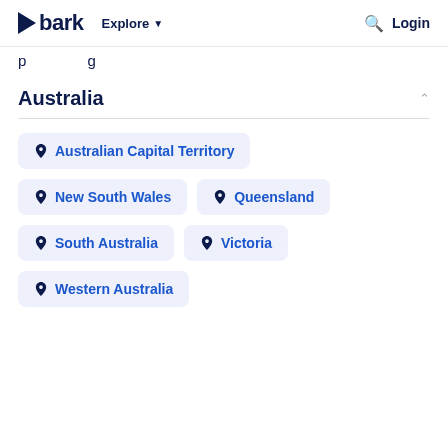bark  Explore  Login
p  g
Australia
Australian Capital Territory
New South Wales
Queensland
South Australia
Victoria
Western Australia